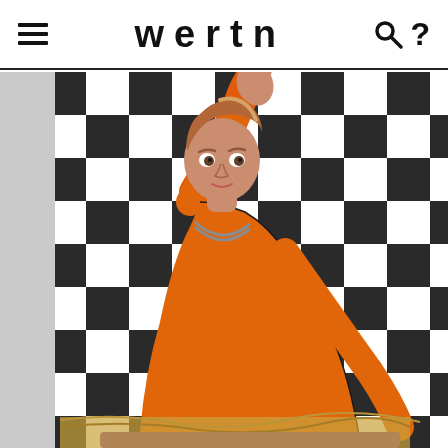wertn
[Figure (photo): A person wearing a bright orange bodysuit with one arm raised high against a black and white checkerboard backdrop. The person has short auburn/blonde hair and is wearing a chain necklace, looking intensely at the camera while in a dynamic pose.]